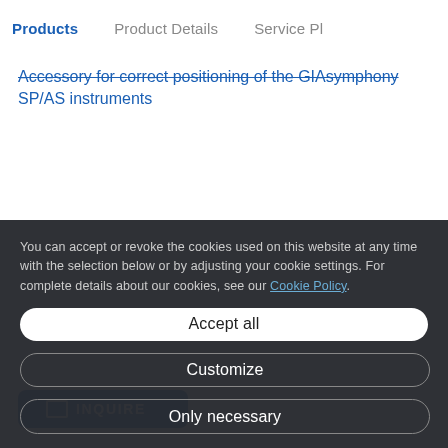Products   Product Details   Service Pl
Accessory for correct positioning of the GIAsymphony SP/AS instruments
INQUIRE
You can accept or revoke the cookies used on this website at any time with the selection below or by adjusting your cookie settings. For complete details about our cookies, see our Cookie Policy.
Accept all
Customize
Only necessary